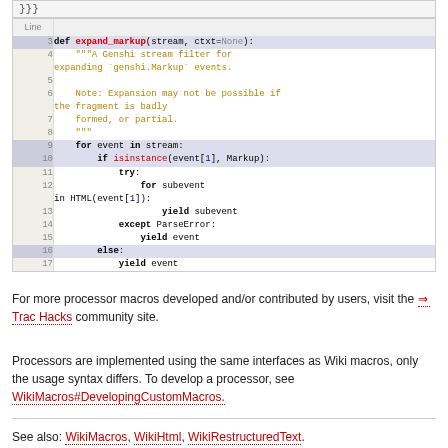[Figure (screenshot): Code snippet showing closing braces }}}]
| Line | Code |
| --- | --- |
| 3 | def expand_markup(stream, ctxt=None): |
| 4 |     """A Genshi stream filter for expanding `genshi.Markup` events. |
| 5 |  |
| 6 |     Note: Expansion may not be possible if the fragment is badly |
| 7 |     formed, or partial. |
| 8 |     """ |
| 9 |     for event in stream: |
| 10 |         if isinstance(event[1], Markup): |
| 11 |             try: |
| 12 |                 for subevent in HTML(event[1]): |
| 13 |                     yield subevent |
| 14 |             except ParseError: |
| 15 |                 yield event |
| 16 |         else: |
| 17 |             yield event |
For more processor macros developed and/or contributed by users, visit the ⇒Trac Hacks community site.
Processors are implemented using the same interfaces as Wiki macros, only the usage syntax differs. To develop a processor, see WikiMacros#DevelopingCustomMacros.
See also: WikiMacros, WikiHtml, WikiRestructuredText.